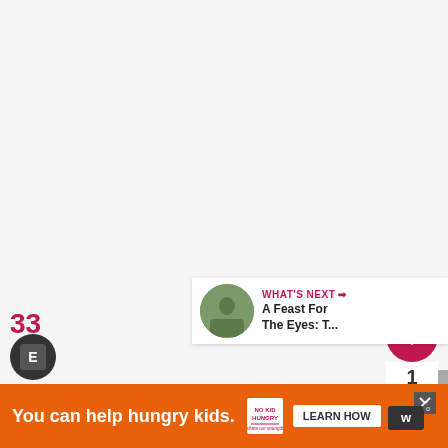[Figure (screenshot): Light gray/white webpage background area filling most of the page]
[Figure (infographic): Heart (like) button circle in crimson/dark pink with white heart icon, count of 1, and share button circle in white with share icon on the right side]
WHAT'S NEXT →
A Feast For The Eyes: T...
33
You can help hungry kids.
NO KID HUNGRY
LEARN HOW